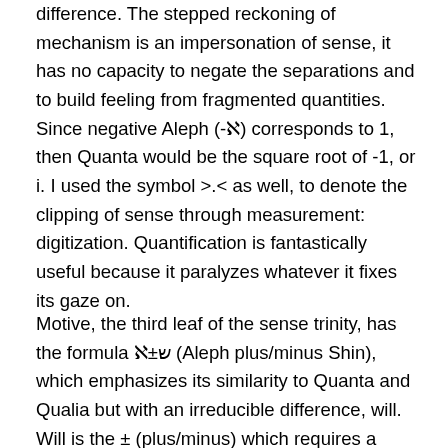difference. The stepped reckoning of mechanism is an impersonation of sense, it has no capacity to negate the separations and to build feeling from fragmented quantities. Since negative Aleph (-ℵ) corresponds to 1, then Quanta would be the square root of -1, or i. I used the symbol >.< as well, to denote the clipping of sense through measurement: digitization. Quantification is fantastically useful because it paralyzes whatever it fixes its gaze on.
Motive, the third leaf of the sense trinity, has the formula ℵ±ש (Aleph plus/minus Shin), which emphasizes its similarity to Quanta and Qualia but with an irreducible difference, will. Will is the ± (plus/minus) which requires a participant to end what sense started (thus the use of Ω, Omega). To have a motive is to de-cide, to kill off all options except one. This is the 'waveform collapse' of QM,